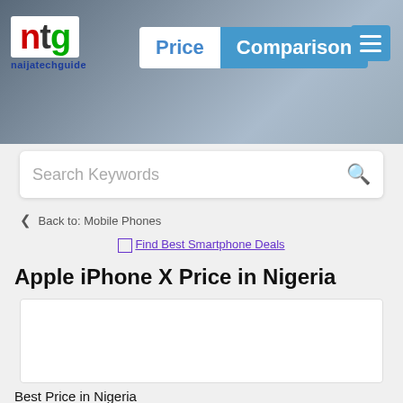[Figure (screenshot): NaijaTechGuide Price Comparison website header with logo, search bar and navigation]
ntg naijatechguide | Price Comparison
Search Keywords
Back to: Mobile Phones
Find Best Smartphone Deals
Apple iPhone X Price in Nigeria
Best Price in Nigeria